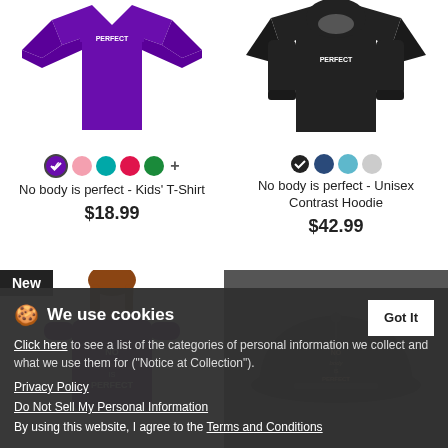[Figure (photo): Purple kids long-sleeve t-shirt with 'PERFECT' text on chest]
[Figure (photo): Black unisex contrast hoodie with 'PERFECT' text on chest]
No body is perfect - Kids' T-Shirt
$18.99
No body is perfect - Unisex Contrast Hoodie
$42.99
[Figure (photo): Woman in purple t-shirt with 'No body is Perfect' text, New badge]
[Figure (photo): Black snapback cap with 'No body is Perfect' embroidered text]
We use cookies
Click here to see a list of the categories of personal information we collect and what we use them for ("Notice at Collection").
Privacy Policy
Do Not Sell My Personal Information
By using this website, I agree to the Terms and Conditions